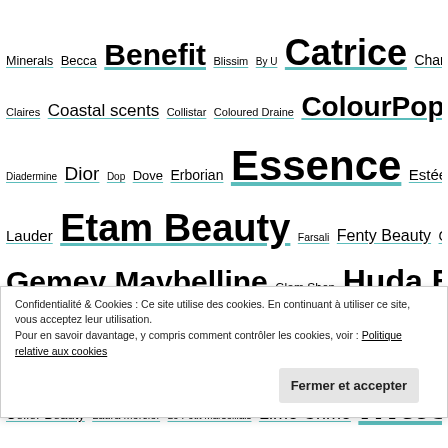Minerals Becca Benefit Blissim By U Catrice Chanel Claires Coastal scents Collistar Coloured Draine ColourPop Diadermine Dior Dop Dove Erborian Essence Estée Lauder Etam Beauty Farsali Fenty Beauty Garnier Gemey Maybelline Glam Shop Huda Beauty Inglot I♥ Makeup Juvia's Place Kat Von D Kiko L'oréal Laura Geller Beauty Laura Mercier Le Petit Marseillais Lime Crime Mac
Confidentialité & Cookies : Ce site utilise des cookies. En continuant à utiliser ce site, vous acceptez leur utilisation.
Pour en savoir davantage, y compris comment contrôler les cookies, voir : Politique relative aux cookies
Fermer et accepter